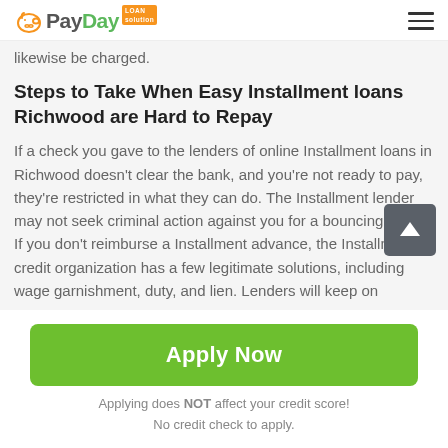PayDay Loan Solution
likewise be charged.
Steps to Take When Easy Installment loans Richwood are Hard to Repay
If a check you gave to the lenders of online Installment loans in Richwood doesn't clear the bank, and you're not ready to pay, they're restricted in what they can do. The Installment lender may not seek criminal action against you for a bouncing check. If you don't reimburse a Installment advance, the Installment credit organization has a few legitimate solutions, including wage garnishment, duty, and lien. Lenders will keep on
Apply Now
Applying does NOT affect your credit score!
No credit check to apply.